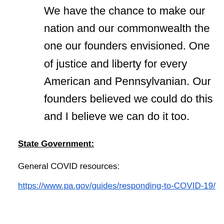We have the chance to make our nation and our commonwealth the one our founders envisioned. One of justice and liberty for every American and Pennsylvanian. Our founders believed we could do this and I believe we can do it too.
State Government:
General COVID resources:
https://www.pa.gov/guides/responding-to-COVID-19/